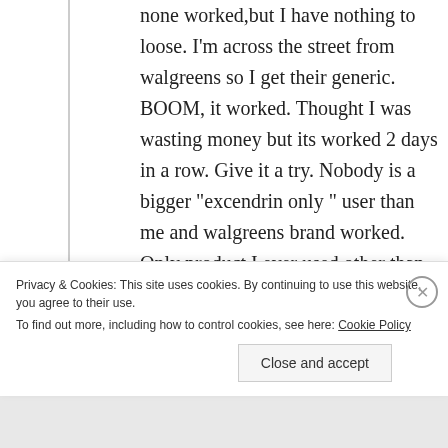none worked,but I have nothing to loose. I'm across the street from walgreens so I get their generic. BOOM, it worked. Thought I was wasting money but its worked 2 days in a row. Give it a try. Nobody is a bigger “excendrin only ” user than me and walgreens brand worked. Only product I ever used other than excedrin that took my headache away.
Privacy & Cookies: This site uses cookies. By continuing to use this website, you agree to their use.
To find out more, including how to control cookies, see here: Cookie Policy